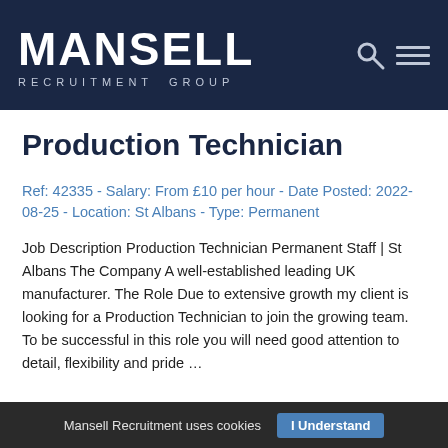MANSELL RECRUITMENT GROUP
Production Technician
Ref: 42335 - Salary: From £10 per hour - Date Posted: 2022-08-25 - Location: St Albans - Type: Permanent
Job Description Production Technician Permanent Staff | St Albans The Company A well-established leading UK manufacturer. The Role Due to extensive growth my client is looking for a Production Technician to join the growing team. To be successful in this role you will need good attention to detail, flexibility and pride ...
Mansell Recruitment uses cookies   I Understand